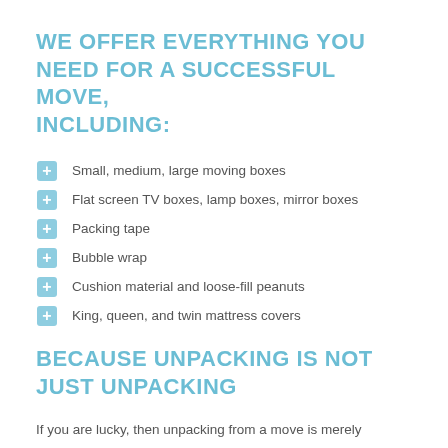WE OFFER EVERYTHING YOU NEED FOR A SUCCESSFUL MOVE, INCLUDING:
Small, medium, large moving boxes
Flat screen TV boxes, lamp boxes, mirror boxes
Packing tape
Bubble wrap
Cushion material and loose-fill peanuts
King, queen, and twin mattress covers
BECAUSE UNPACKING IS NOT JUST UNPACKING
If you are lucky, then unpacking from a move is merely opening boxes and finding where to place the contents.